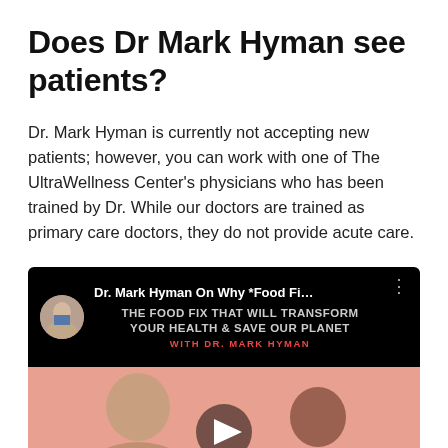Does Dr Mark Hyman see patients?
Dr. Mark Hyman is currently not accepting new patients; however, you can work with one of The UltraWellness Center's physicians who has been trained by Dr. While our doctors are trained as primary care doctors, they do not provide acute care.
[Figure (screenshot): YouTube video thumbnail showing 'Dr. Mark Hyman On Why *Food Fi...' with subtitle 'THE FOOD FIX THAT WILL TRANSFORM YOUR HEALTH & SAVE OUR PLANET WITH DR. MARK HYMAN' and two people visible below on a pink/salmon background with a play button.]